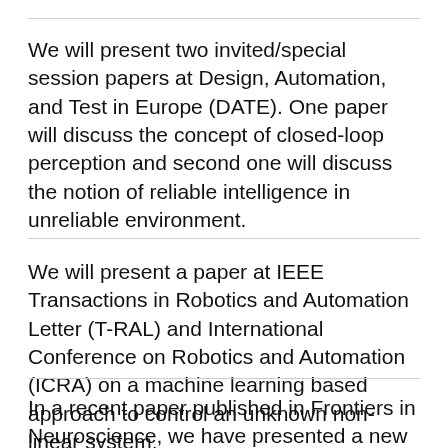We will present two invited/special session papers at Design, Automation, and Test in Europe (DATE). One paper will discuss the concept of closed-loop perception and second one will discuss the notion of reliable intelligence in unreliable environment.
We will present a paper at IEEE Transactions in Robotics and Automation Letter (T-RAL) and International Conference on Robotics and Automation (ICRA) on a machine learning based approach to control an unknown non-linear system.
In a recent paper published in Frontiers in Neuroscience, we have presented a new approach to design spiking neural network for unsupervised